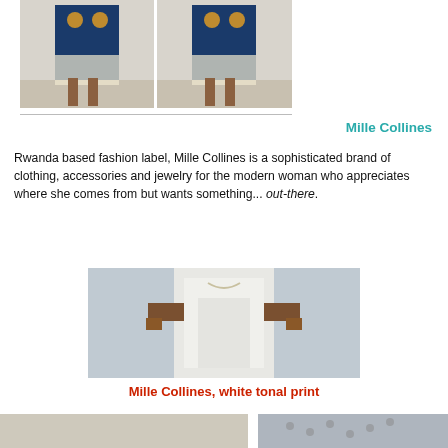[Figure (photo): Two fashion photos side by side showing models wearing African print clothing with colorful dashiki-style outfits]
Mille Collines
Rwanda based fashion label, Mille Collines is a sophisticated brand of clothing, accessories and jewelry for the modern woman who appreciates where she comes from but wants something... out-there.
[Figure (photo): Fashion photo of a model wearing a white tonal print outfit, hands in pockets]
Mille Collines, white tonal print
[Figure (photo): Partial bottom strip showing two fashion photos]